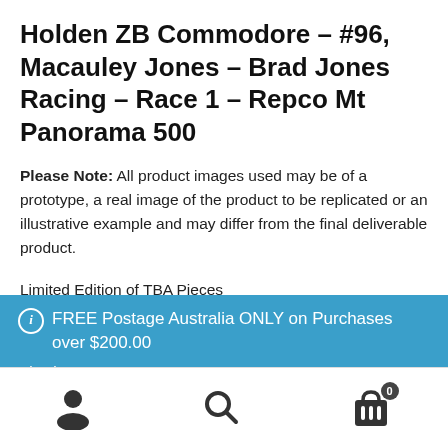Holden ZB Commodore – #96, Macauley Jones – Brad Jones Racing – Race 1 – Repco Mt Panorama 500
Please Note: All product images used may be of a prototype, a real image of the product to be replicated or an illustrative example and may differ from the final deliverable product.
Limited Edition of TBA Pieces
FREE Postage Australia ONLY on Purchases over $200.00
Dismiss